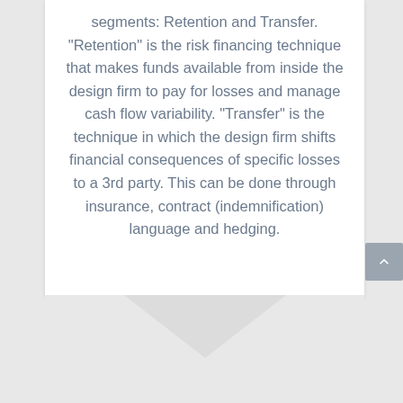segments: Retention and Transfer. “Retention” is the risk financing technique that makes funds available from inside the design firm to pay for losses and manage cash flow variability. “Transfer” is the technique in which the design firm shifts financial consequences of specific losses to a 3rd party. This can be done through insurance, contract (indemnification) language and hedging.